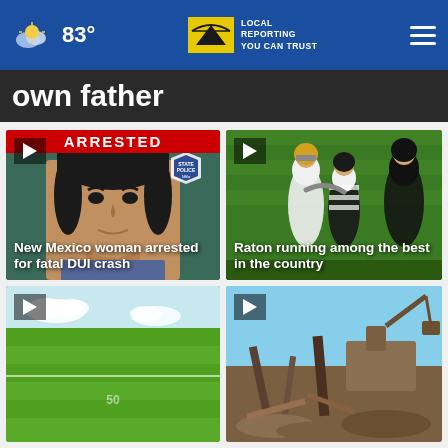83° | KRQE LOCAL REPORTING YOU CAN TRUST
own father
[Figure (screenshot): News card: woman arrested mugshot with ARRESTED banner, title: New Mexico woman arrested for fatal DUI crash]
[Figure (screenshot): News card: football players on field, title: Raton running among the best in the country]
[Figure (screenshot): News card: green field/grass, partial view, bottom row]
[Figure (screenshot): News card: construction/destruction scene, partial view, bottom row]